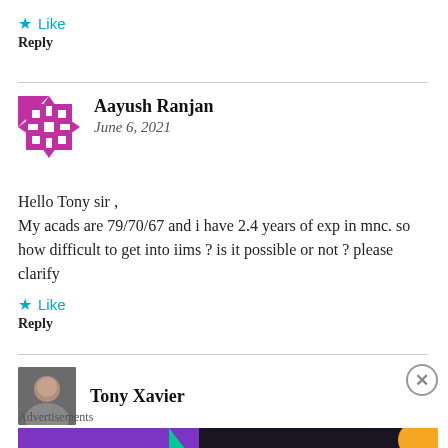★ Like
Reply
Aayush Ranjan
June 6, 2021
Hello Tony sir ,
My acads are 79/70/67 and i have 2.4 years of exp in mnc. so how difficult to get into iims ? is it possible or not ? please clarify
★ Like
Reply
Tony Xavier
[Figure (other): WooCommerce advertisement banner: 'How to start selling subscriptions online']